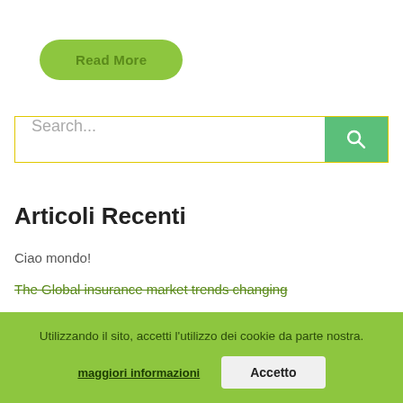[Figure (other): Green rounded rectangle button with text 'Read More']
[Figure (other): Search bar with yellow border, placeholder text 'Search...' and a green search icon button on the right]
Articoli Recenti
Ciao mondo!
The Global insurance market trends changing
Inside the business – why kidnapping rarely pays
Utilizzando il sito, accetti l'utilizzo dei cookie da parte nostra. maggiori informazioni    Accetto